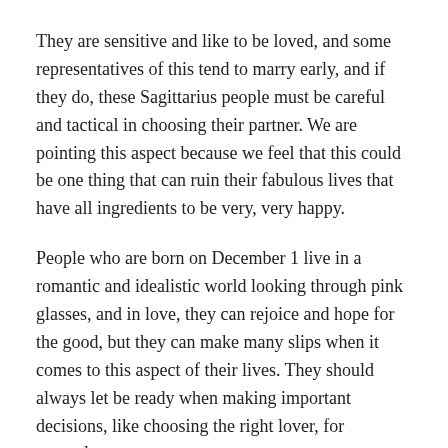They are sensitive and like to be loved, and some representatives of this tend to marry early, and if they do, these Sagittarius people must be careful and tactical in choosing their partner. We are pointing this aspect because we feel that this could be one thing that can ruin their fabulous lives that have all ingredients to be very, very happy.
People who are born on December 1 live in a romantic and idealistic world looking through pink glasses, and in love, they can rejoice and hope for the good, but they can make many slips when it comes to this aspect of their lives. They should always let be ready when making important decisions, like choosing the right lover, for example.
More importantly, their support, trust, honest word is